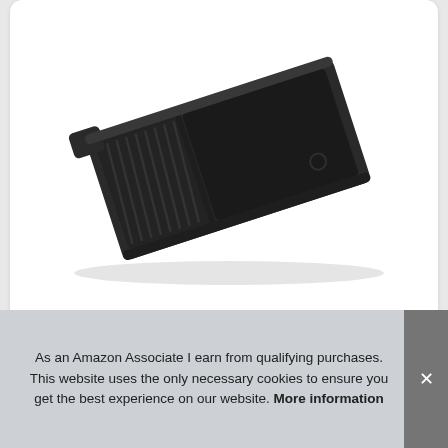[Figure (photo): Photo of a black plastic 4-inch paint roller tray, shown at an angle on a white background]
Top 10 4 inch Roller Tray UK – Paint Trays
[Figure (photo): Partial view of product images in a second card, showing two dark circular tops of paint roller handles]
As an Amazon Associate I earn from qualifying purchases. This website uses the only necessary cookies to ensure you get the best experience on our website. More information